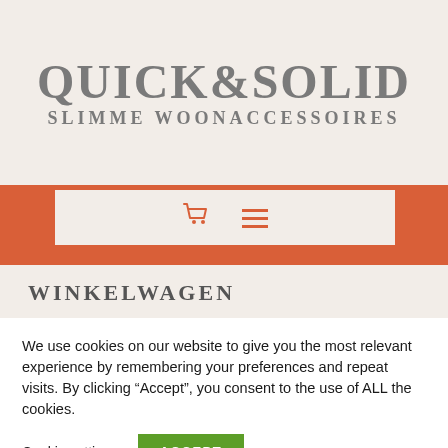QUICK&SOLID
SLIMME WOONACCESSOIRES
[Figure (screenshot): Navigation bar with orange background, white inner box containing a shopping cart icon and hamburger menu icon in orange]
WINKELWAGEN
We use cookies on our website to give you the most relevant experience by remembering your preferences and repeat visits. By clicking “Accept”, you consent to the use of ALL the cookies.
Cookie settings
ACCEPT